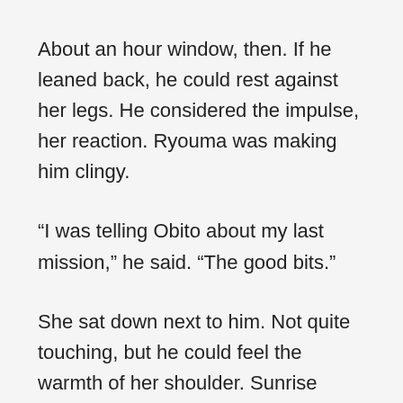About an hour window, then. If he leaned back, he could rest against her legs. He considered the impulse, her reaction. Ryouma was making him clingy.
“I was telling Obito about my last mission,” he said. “The good bits.”
She sat down next to him. Not quite touching, but he could feel the warmth of her shoulder. Sunrise filtered soft watercolors over her face, gold and pink.